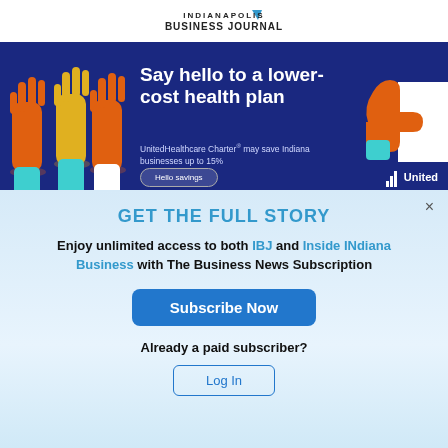INDIANAPOLIS BUSINESS JOURNAL
[Figure (illustration): UnitedHealthcare advertisement banner with dark navy background. Shows raised hands (orange, yellow, teal) on the left, bold white text 'Say hello to a lower-cost health plan', subtext 'UnitedHealthcare Charter® may save Indiana businesses up to 15%', a button labeled 'Hello savings', and an orange thumbs-up icon on the right with United Healthcare logo.]
GET THE FULL STORY
Enjoy unlimited access to both IBJ and Inside INdiana Business with The Business News Subscription
Subscribe Now
Already a paid subscriber?
Log In